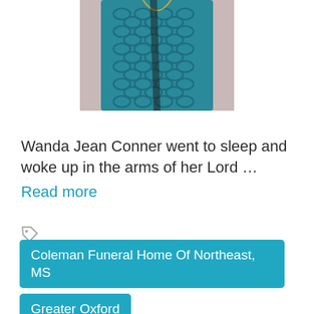[Figure (photo): Partial photo of a person wearing a teal patterned garment, cropped at top of page]
Wanda Jean Conner went to sleep and woke up in the arms of her Lord … Read more
[Figure (other): Tag/label icon (price tag shape) in gray]
Coleman Funeral Home Of Northeast, MS
Greater Oxford
Lafayette County, MS
Mississippi